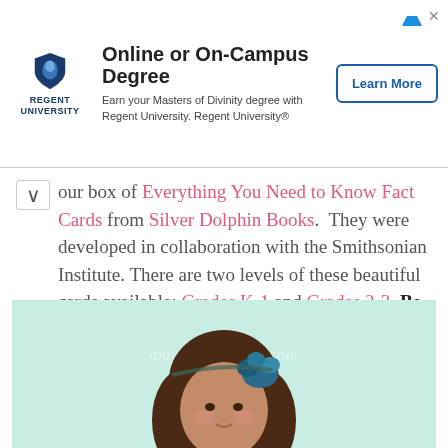[Figure (other): Regent University advertisement banner with logo, headline 'Online or On-Campus Degree', subtext about Masters of Divinity, and 'Learn More' button]
our box of Everything You Need to Know Fact Cards from Silver Dolphin Books. They were developed in collaboration with the Smithsonian Institute. There are two levels of these beautiful cards available: Grades K-1 and Grades 2-3. Be sure to enter the giveaway below!!
[Figure (photo): Photo of a young girl with brown hair and a blue flower headband, smiling, against a light green/mint background. Watermark reads amyswandering.com]